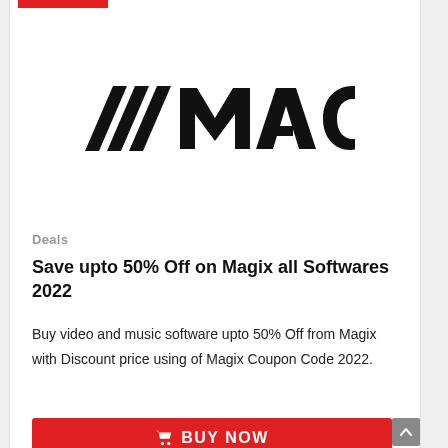[Figure (logo): MAGIX logo with triple slash mark icon followed by bold MAGIX wordmark in black]
Deals
Save upto 50% Off on Magix all Softwares 2022
Buy video and music software upto 50% Off from Magix with Discount price using of Magix Coupon Code 2022.
BUY NOW